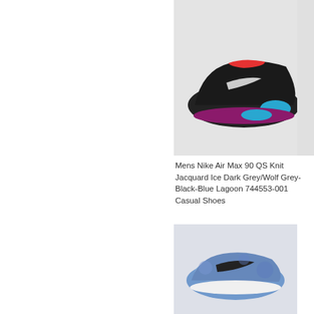[Figure (photo): Nike Air Max 90 QS Knit Jacquard sneaker in Dark Grey/Wolf Grey-Black-Blue Lagoon colorway, side profile view on light grey background]
Mens Nike Air Max 90 QS Knit Jacquard Ice Dark Grey/Wolf Grey-Black-Blue Lagoon 744553-001 Casual Shoes
$176.00  $69.17  Save: 61% off
[Figure (photo): Partial view of another Nike sneaker product on right edge]
[Figure (photo): Nike Air Max 90 sneaker in blue tie-dye colorway, partial view at bottom of page]